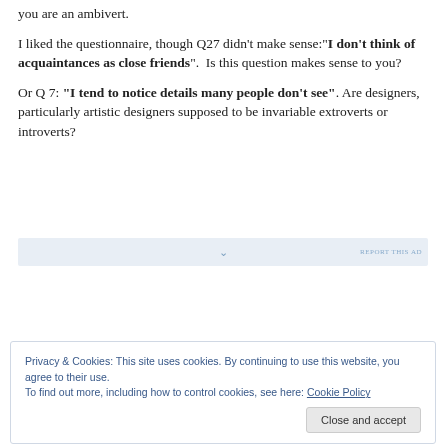you are an ambivert.
I liked the questionnaire, though Q27 didn't make sense:"I don't think of acquaintances as close friends".  Is this question makes sense to you?
Or Q 7: "I tend to notice details many people don't see". Are designers, particularly artistic designers supposed to be invariable extroverts or introverts?
Privacy & Cookies: This site uses cookies. By continuing to use this website, you agree to their use.
To find out more, including how to control cookies, see here: Cookie Policy